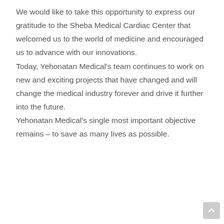We would like to take this opportunity to express our gratitude to the Sheba Medical Cardiac Center that welcomed us to the world of medicine and encouraged us to advance with our innovations. Today, Yehonatan Medical's team continues to work on new and exciting projects that have changed and will change the medical industry forever and drive it further into the future. Yehonatan Medical's single most important objective remains – to save as many lives as possible.